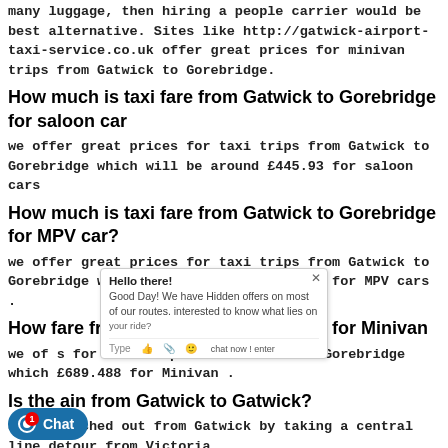many luggage, then hiring a people carrier would be best alternative. Sites like http://gatwick-airport-taxi-service.co.uk offer great prices for minivan trips from Gatwick to Gorebridge.
How much is taxi fare from Gatwick to Gorebridge for saloon car
we offer great prices for taxi trips from Gatwick to Gorebridge which will be around £445.93 for saloon cars
How much is taxi fare from Gatwick to Gorebridge for MPV car?
we offer great prices for taxi trips from Gatwick to Gorebridge which will be around £465.93 for MPV cars .
How much is taxi fare from Gatwick to Gorebridge for Minivan
we offer great prices for taxi trips from Gatwick to Gorebridge which will be around £689.488 for Minivan .
Is the train from Gatwick to Gatwick?
an be reached out from Gatwick by taking a central line detour from Victoria.